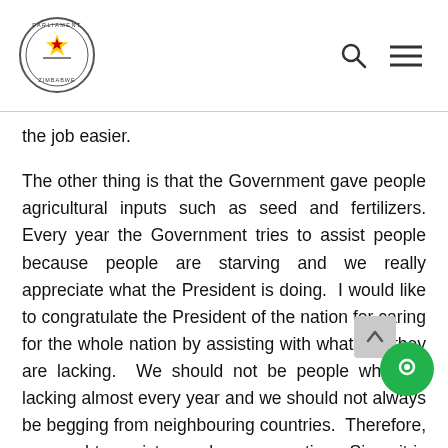Parliament of Zimbabwe – navigation header with logo, search icon, and menu icon
the job easier.
The other thing is that the Government gave people agricultural inputs such as seed and fertilizers. Every year the Government tries to assist people because people are starving and we really appreciate what the President is doing.  I would like to congratulate the President of the nation for caring for the whole nation by assisting with whatever they are lacking.  We should not be people who are lacking almost every year and we should not always be begging from neighbouring countries.  Therefore, we need to assist ourselves as a nation.  Since it is raining and with the assistance of Government, we should engage in massive farming.